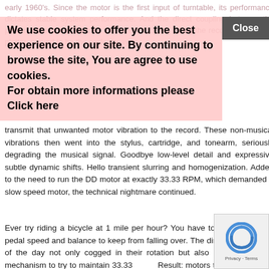early 1960's. Since the motor is the first input of turntable, its performance dictates stable system performance. And the direct coupling between the platter, eliminating any belt, that direct coupling being the record spindle and platter, proved to be the perfect way to transmit that unwanted motor vibration to the record. These non-musical vibrations then went into the stylus, cartridge, and tonearm, seriously degrading the musical signal. Goodbye low-level detail and expressive subtle dynamic shifts. Hello transient slurring and homogenization. Added to the need to run the DD motor at exactly 33.33 RPM, which demanded a slow speed motor, the technical nightmare continued.
Ever try riding a bicycle at 1 mile per hour? You have to constantly alter pedal speed and balance to keep from falling over. The direct drive motors of the day not only cogged in their rotation but also needed a servo mechanism to try to maintain 33.33 RPM. Result: motors that were always changing their speed
We use cookies to offer you the best experience on our site. By continuing to browse the site, You are agree to use cookies. For obtain more informations please Click here